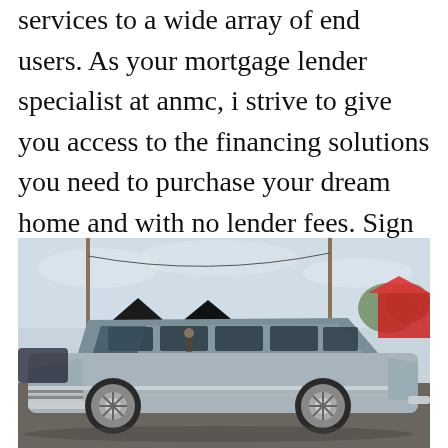services to a wide array of end users. As your mortgage lender specialist at anmc, i strive to give you access to the financing solutions you need to purchase your dream home and with no lender fees. Sign in to your account welcome back!
[Figure (photo): A custom silver/grey elongated vintage car (appears to be a stretched 1950s Chevrolet wagon/limousine) on display at an outdoor car show. Black tent canopies visible in background along with trees and other cars. A red tent is visible on the right side.]